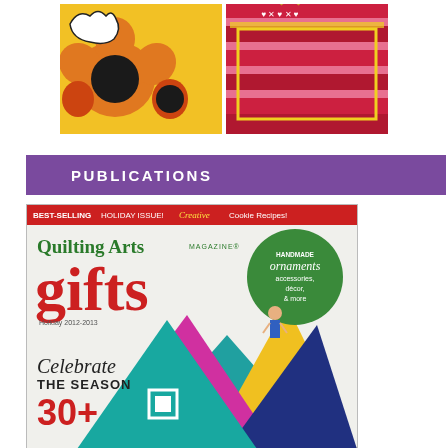[Figure (photo): Two quilted bags side by side: left bag with yellow sunflower pattern, right bag with red and pink horizontal stripes and decorative border]
PUBLICATIONS
[Figure (photo): Cover of Quilting Arts Magazine Gifts holiday issue 2012-2013. Red banner reads 'BEST-SELLING HOLIDAY ISSUE! Creative Cookie Recipes!' Large green text 'Quilting Arts Magazine' and red text 'gifts'. Green circle badge: 'HANDMADE ornaments accessories, décor, & more'. Bottom: 'Celebrate THE SEASON 30+'. Background shows colorful geometric triangle shapes.]